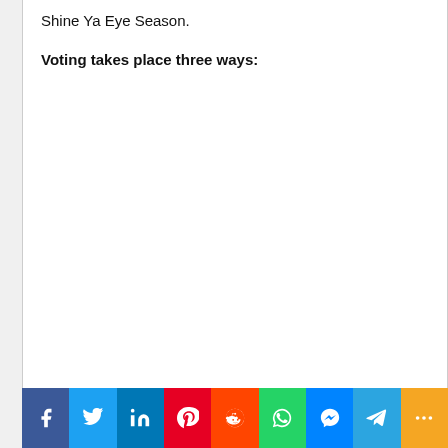Shine Ya Eye Season.
Voting takes place three ways:
[Figure (infographic): Social media sharing bar with icons for Facebook, Twitter, LinkedIn, Pinterest, Reddit, WhatsApp, Messenger, Telegram, and More]